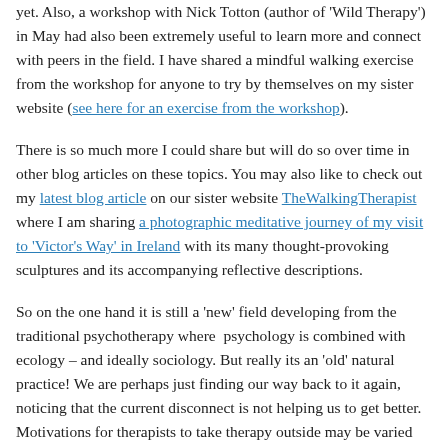yet. Also, a workshop with Nick Totton (author of 'Wild Therapy') in May had also been extremely useful to learn more and connect with peers in the field. I have shared a mindful walking exercise from the workshop for anyone to try by themselves on my sister website (see here for an exercise from the workshop).
There is so much more I could share but will do so over time in other blog articles on these topics. You may also like to check out my latest blog article on our sister website TheWalkingTherapist where I am sharing a photographic meditative journey of my visit to 'Victor's Way' in Ireland with its many thought-provoking sculptures and its accompanying reflective descriptions.
So on the one hand it is still a 'new' field developing from the traditional psychotherapy where  psychology is combined with ecology – and ideally sociology. But really its an 'old' natural practice! We are perhaps just finding our way back to it again, noticing that the current disconnect is not helping us to get better. Motivations for therapists to take therapy outside may be varied but many seem to have similarities in their stories that often link to re-discovering the lost healing connection with nature. Interest from therapists also is